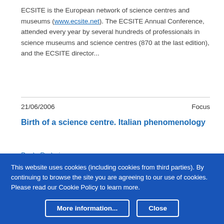ECSITE is the European network of science centres and museums (www.ecsite.net). The ECSITE Annual Conference, attended every year by several hundreds of professionals in science museums and science centres (870 at the last edition), and the ECSITE director...
21/06/2006
Focus
Birth of a science centre. Italian phenomenology
Paola Rodari
In May 2004 the Balì Museum, Planetarium and interactive
This website uses cookies (including cookies from third parties). By continuing to browse the site you are agreeing to our use of cookies. Please read our Cookie Policy to learn more.
More information...
Close